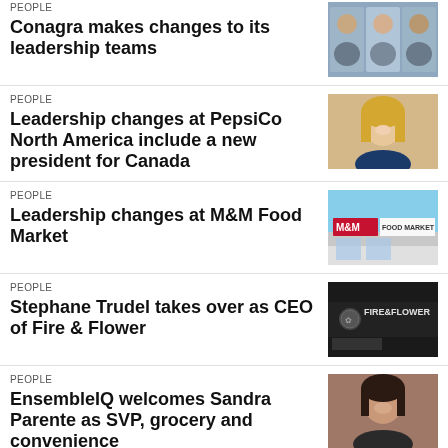PEOPLE
Conagra makes changes to its leadership teams
[Figure (photo): Three people portrait photos - Conagra leadership]
PEOPLE
Leadership changes at PepsiCo North America include a new president for Canada
[Figure (photo): Portrait of a blonde woman smiling - PepsiCo executive]
PEOPLE
Leadership changes at M&M Food Market
[Figure (photo): M&M Food Market store exterior sign]
PEOPLE
Stephane Trudel takes over as CEO of Fire & Flower
[Figure (photo): Fire & Flower store sign/exterior]
PEOPLE
EnsembleIQ welcomes Sandra Parente as SVP, grocery and convenience
[Figure (photo): Portrait of Sandra Parente, dark-haired woman]
PEOPLE
Maple Leaf Foods CEO stepping down next